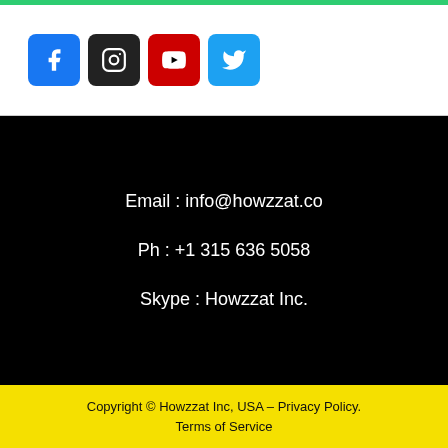[Figure (other): Social media icons row: Facebook (blue), Instagram (dark/black), YouTube (red), Twitter (light blue)]
Email : info@howzzat.co
Ph : +1 315 636 5058
Skype : Howzzat Inc.
Copyright © Howzzat Inc, USA – Privacy Policy.
Terms of Service